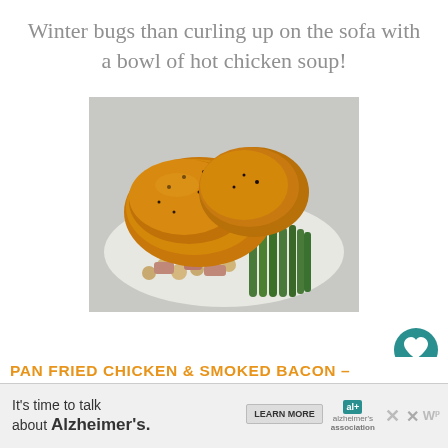Winter bugs than curling up on the sofa with a bowl of hot chicken soup!
[Figure (photo): Pan fried chicken pieces served on a bed of green beans, chickpeas, and vegetables on a white plate]
[Figure (other): Teal heart/like button icon on right side]
[Figure (other): Share button icon on right side]
PAN FRIED CHICKEN & SMOKED BACON –
[Figure (infographic): Advertisement banner: It's time to talk about Alzheimer's. LEARN MORE. alzheimers association logo. AL badge, close X, and W superscript p icon.]